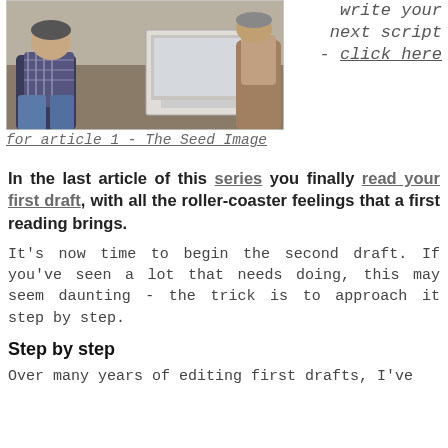[Figure (photo): A person sitting at a computer/laptop, working at a desk indoors.]
write your next script - click here
for article 1 - The Seed Image
In the last article of this series you finally read your first draft, with all the roller-coaster feelings that a first reading brings.
It's now time to begin the second draft. If you've seen a lot that needs doing, this may seem daunting - the trick is to approach it step by step.
Step by step
Over many years of editing first drafts, I've learned to start...